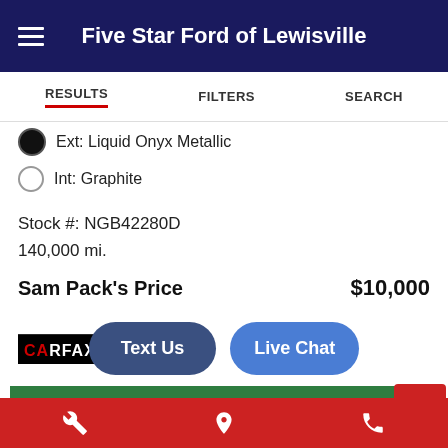Five Star Ford of Lewisville
RESULTS   FILTERS   SEARCH
Ext: Liquid Onyx Metallic
Int: Graphite
Stock #: NGB42280D
140,000 mi.
Sam Pack's Price   $10,000
Text Us
Live Chat
[Figure (logo): CARFAX logo badge in black and white]
ESTIMATE PAYMENTS
GET MORE INFORMATION
Wrench icon, Location pin icon, Phone icon